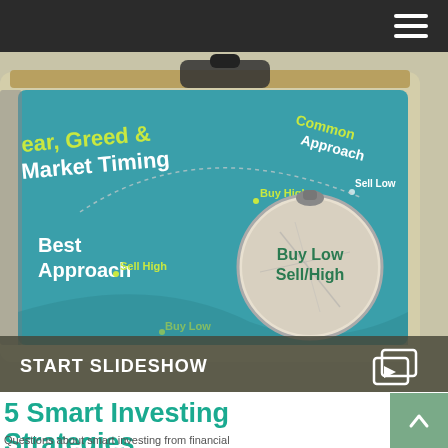[Figure (infographic): An infographic on a tablet/clipboard showing 'Fear, Greed & Market Timing' with 'Common Approach' (Buy High, Sell Low) vs 'Best Approach' (Sell High, Buy Low) and a compass/clock graphic in the center showing 'Buy Low Sell High'. Background is teal/blue-green.]
START SLIDESHOW
5 Smart Investing Strategies